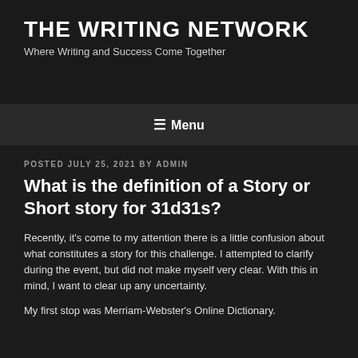THE WRITING NETWORK
Where Writing and Success Come Together
☰ Menu
POSTED JULY 25, 2021 BY ADMIN
What is the definition of a Story or Short story for 31d31s?
Recently, it's come to my attention there is a little confusion about what constitutes a story for this challenge. I attempted to clarify during the event, but did not make myself very clear. With this in mind, I want to clear up any uncertainty.
My first stop was Merriam-Webster's Online Dictionary.